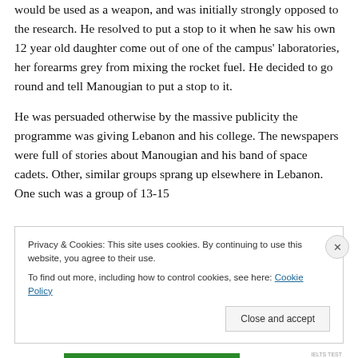would be used as a weapon, and was initially strongly opposed to the research. He resolved to put a stop to it when he saw his own 12 year old daughter come out of one of the campus' laboratories, her forearms grey from mixing the rocket fuel. He decided to go round and tell Manougian to put a stop to it.
He was persuaded otherwise by the massive publicity the programme was giving Lebanon and his college. The newspapers were full of stories about Manougian and his band of space cadets. Other, similar groups sprang up elsewhere in Lebanon. One such was a group of 13-15...
Privacy & Cookies: This site uses cookies. By continuing to use this website, you agree to their use.
To find out more, including how to control cookies, see here: Cookie Policy